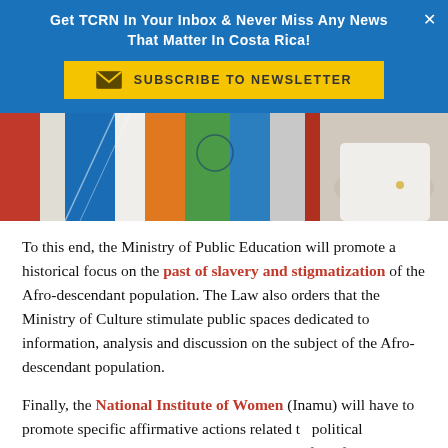Get TCRN In Your Inbox & Never Miss Any News That Matter In Costa Rica!
[Figure (screenshot): Yellow subscribe to newsletter button with envelope icon]
[Figure (photo): Photo strip showing colorful artwork panels and a person with arms crossed wearing white shirt]
To this end, the Ministry of Public Education will promote a historical focus on the past of slavery and stigmatization of the Afro-descendant population. The Law also orders that the Ministry of Culture stimulate public spaces dedicated to information, analysis and discussion on the subject of the Afro-descendant population.
Finally, the National Institute of Women (Inamu) will have to promote specific affirmative actions related to political participation; economic autonomy and access for Afro-descendant women and should meas